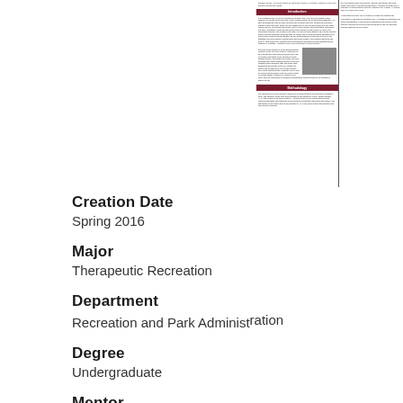[Figure (screenshot): Preview of a research paper document showing Introduction and Methodology sections with a dog photo, displayed as a two-column mini document preview on dark background]
Creation Date
Spring 2016
Major
Therapeutic Recreation
Department
Recreation and Park Administ...
Degree
Undergraduate
Mentor
Cheryl Jones